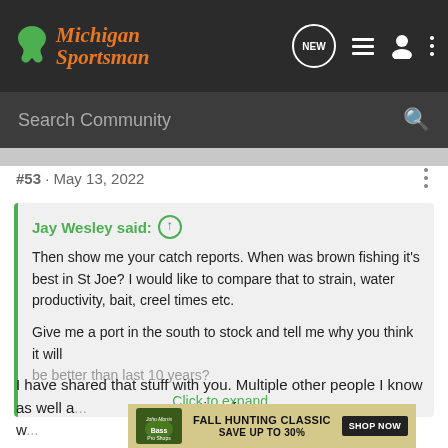Michigan Sportsman
Search Community
#53 · May 13, 2022
Jay Wesley said: ↑
Then show me your catch reports. When was brown fishing it's best in St Joe? I would like to compare that to strain, water productivity, bait, creel times etc.

Give me a port in the south to stock and tell me why you think it will be better than last 10 years?

Click to expand...
I have shared that stuff with you. Multiple other people I know as well a... e time frame w... people
[Figure (infographic): Bass Pro Shops Fall Hunting Classic advertisement banner: Save up to 30% with Shop Now button]